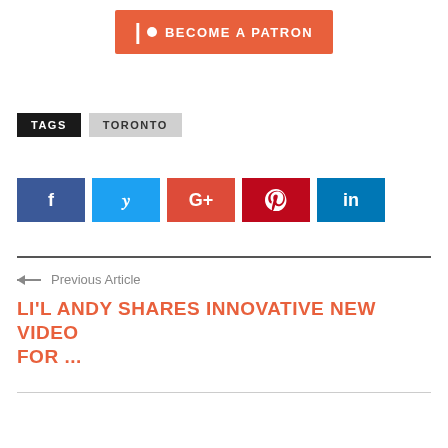[Figure (other): Patreon 'Become a Patron' button in orange with pipe and circle logo]
TAGS   TORONTO
[Figure (other): Social media share buttons: Facebook, Twitter, Google+, Pinterest, LinkedIn]
← Previous Article
LI'L ANDY SHARES INNOVATIVE NEW VIDEO FOR ...